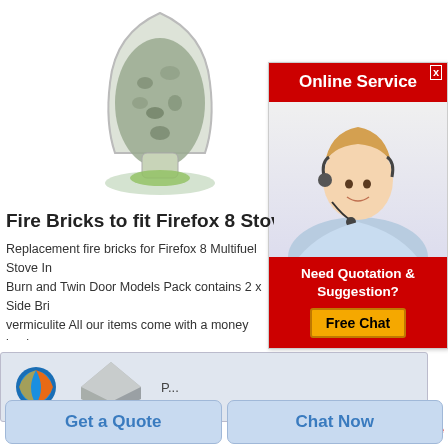[Figure (photo): Product photo of a glass jar/vase containing gray granular vermiculite material, with a small green base.]
[Figure (infographic): Online Service advertisement panel with red header reading 'Online Service', photo of a blonde woman wearing a headset smiling, and a red bottom section with text 'Need Quotation & Suggestion?' and a yellow 'Free Chat' button.]
Fire Bricks to fit Firefox 8 Stove Fire B
Replacement fire bricks for Firefox 8 Multifuel Stove In Burn and Twin Door Models Pack contains 2 x Side Bri vermiculite All our items come with a money back guar fire bricks only we also supply the rear brick and full se
[Figure (screenshot): Bottom browser area showing Firefox logo and a gray wedge-shaped fire brick product image preview.]
Get a Quote
Chat Now